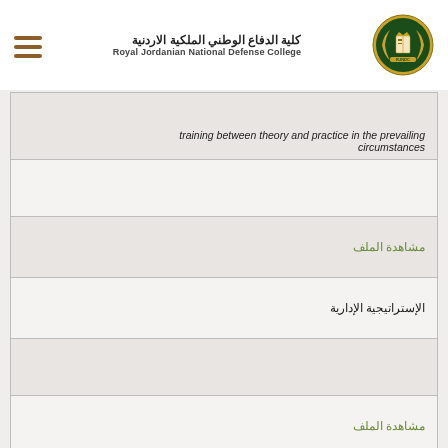كلية الدفاع الوطني الملكية الاردنية / Royal Jordanian National Defense College
| training between theory and practice in the prevailing circumstances |
|  |
| مشاهدة الملف |
| الإستراتيجية الإدارية |
|  |
| مشاهدة الملف |
| National Service |
|  |
|  |